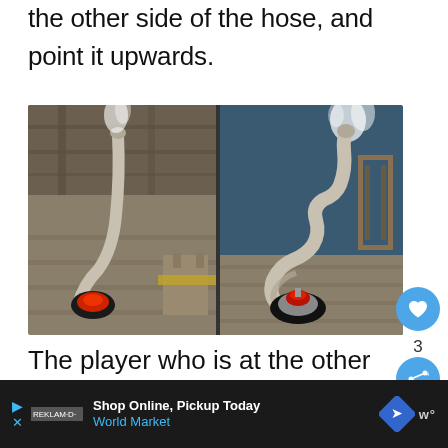the ground pound need to rush to the other side of the hose, and point it upwards.
[Figure (screenshot): Two side-by-side in-game screenshots showing a hose/vacuum device in a wooden cabin-like room. Left image shows the hose pointing down toward a red button on the floor. Right image shows the hose curled and pointing upward, with steam/smoke coming out, and a red device on a dark circular base on the floor.]
The player who is at the other side
Shop Online, Pickup Today
World Market